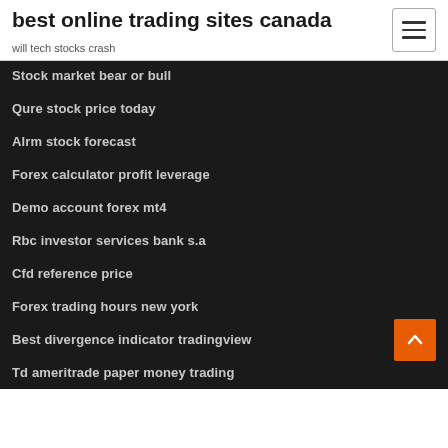best online trading sites canada
will tech stocks crash
Stock market bear or bull
Qure stock price today
Alrm stock forecast
Forex calculator profit leverage
Demo account forex mt4
Rbc investor services bank s.a
Cfd reference price
Forex trading hours new york
Best divergence indicator tradingview
Td ameritrade paper money trading